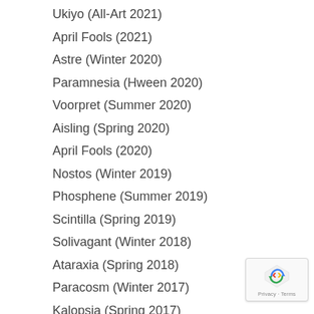Ukiyo (All-Art 2021)
April Fools (2021)
Astre (Winter 2020)
Paramnesia (Hween 2020)
Voorpret (Summer 2020)
Aisling (Spring 2020)
April Fools (2020)
Nostos (Winter 2019)
Phosphene (Summer 2019)
Scintilla (Spring 2019)
Solivagant (Winter 2018)
Ataraxia (Spring 2018)
Paracosm (Winter 2017)
Kalopsia (Spring 2017)
Metanoia (Winter 2017)